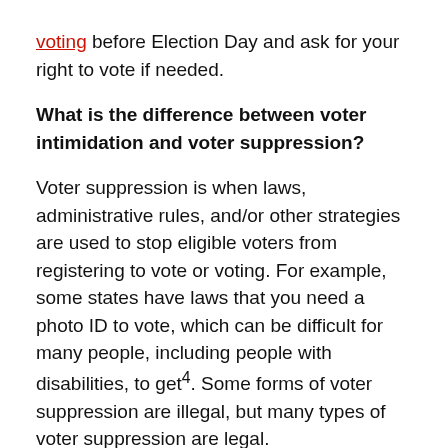voting before Election Day and ask for your right to vote if needed.
What is the difference between voter intimidation and voter suppression?
Voter suppression is when laws, administrative rules, and/or other strategies are used to stop eligible voters from registering to vote or voting. For example, some states have laws that you need a photo ID to vote, which can be difficult for many people, including people with disabilities, to get4. Some forms of voter suppression are illegal, but many types of voter suppression are legal.
Voter intimidation is when a person tries to scare or